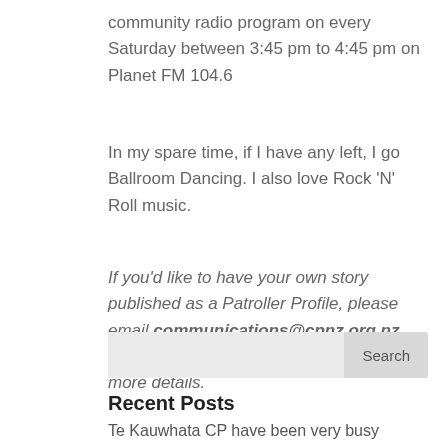community radio program on every Saturday between 3:45 pm to 4:45 pm on Planet FM 104.6
In my spare time, if I have any left, I go Ballroom Dancing. I also love Rock ‘N’ Roll music.
If you’d like to have your own story published as a Patroller Profile, please email communications@cpnz.org.nz and we’ll be happy to send you some more details.
[Figure (other): Search bar with text input area and Search button]
Recent Posts
Te Kauwhata CP have been very busy